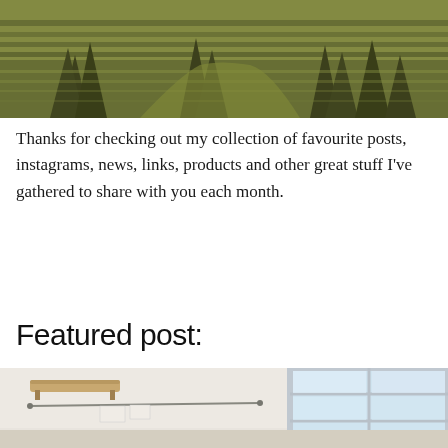[Figure (photo): Aerial or elevated view of a coniferous forest with rows of pine trees and a path visible below, warm golden-green tones]
Thanks for checking out my collection of favourite posts, instagrams, news, links, products and other great stuff I've gathered to share with you each month.
Featured post:
[Figure (photo): Interior room photo showing white walls, a wooden shelf on the wall, a rod/rail system, and large window with grid panes letting in bright light]